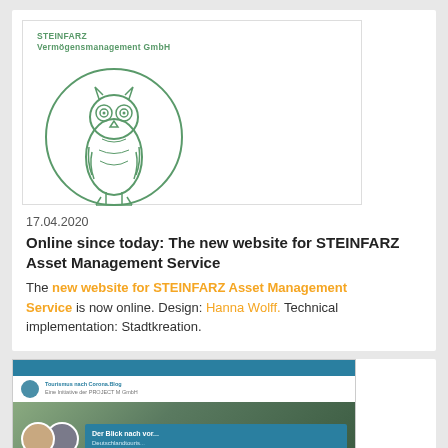[Figure (logo): STEINFARZ Vermögensmanagement GmbH logo with an owl illustration inside a circle, green line art style]
17.04.2020
Online since today: The new website for STEINFARZ Asset Management Service
The new website for STEINFARZ Asset Management Service is now online. Design: Hanna Wolff. Technical implementation: Stadtkreation.
[Figure (screenshot): Screenshot of a blog post: Tourismus nach Corona.Blog, showing 'Der Blick nach vorne: Deutschlandtouris...' article with two authors' photos and text about Bundes- und Landesregierungen]